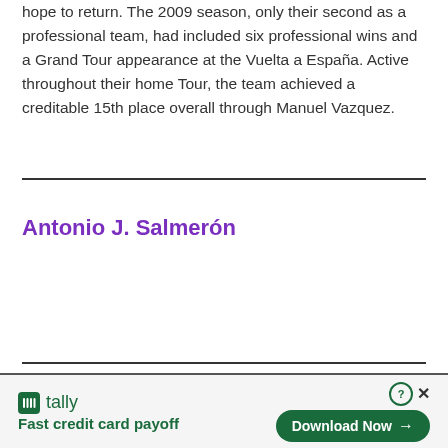hope to return. The 2009 season, only their second as a professional team, had included six professional wins and a Grand Tour appearance at the Vuelta a España. Active throughout their home Tour, the team achieved a creditable 15th place overall through Manuel Vazquez.
Antonio J. Salmerón
[Figure (other): Advertisement banner for Tally app — 'Fast credit card payoff' with a green Download Now button]